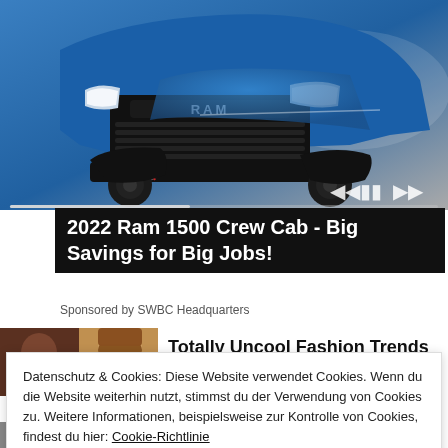[Figure (photo): 2022 Ram 1500 Crew Cab truck, blue color, front view with large grille showing RAM logo, large off-road tires, with video playback controls overlay at bottom right]
2022 Ram 1500 Crew Cab - Big Savings for Big Jobs!
Sponsored by SWBC Headquarters
[Figure (photo): Thumbnail image of a woman, used for fashion trends article]
Totally Uncool Fashion Trends
Datenschutz & Cookies: Diese Website verwendet Cookies. Wenn du die Website weiterhin nutzt, stimmst du der Verwendung von Cookies zu. Weitere Informationen, beispielsweise zur Kontrolle von Cookies, findest du hier: Cookie-Richtlinie
Schließen und Akzeptieren
[Figure (photo): Thumbnail of a woman with sunglasses]
way that white women have